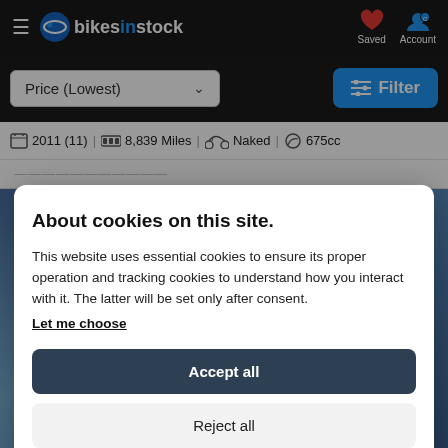bikesinstock — navigation bar with Saved and Account icons
[Figure (screenshot): Sort dropdown showing 'Price (Lowest)' and blue Filter button]
2011 (11) | 8,839 Miles | Naked | 675cc
About cookies on this site.
This website uses essential cookies to ensure its proper operation and tracking cookies to understand how you interact with it. The latter will be set only after consent.
Let me choose
Accept all
Reject all